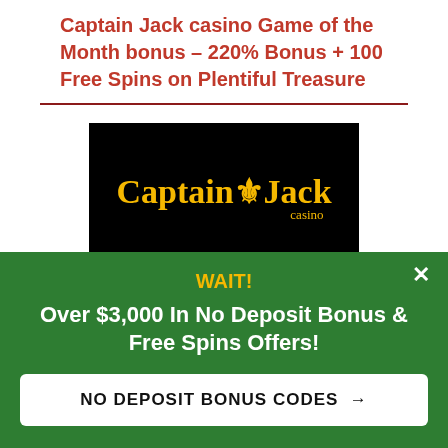Captain Jack casino Game of the Month bonus – 220% Bonus + 100 Free Spins on Plentiful Treasure
[Figure (logo): Captain Jack Casino logo — yellow text on black background]
| Available to | All players |
| Playthrough | 30x |
WAIT! Over $3,000 In No Deposit Bonus & Free Spins Offers!
NO DEPOSIT BONUS CODES →